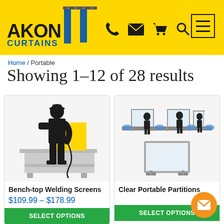AKON CURTAINS
Home / Portable
Showing 1–12 of 28 results
[Figure (illustration): Bench-top welding screen product image showing a silhouette of a person in uniform standing next to a yellow welding screen on a work bench]
Bench-top Welding Screens
$109.99 – $178.99
[Figure (illustration): Clear portable partitions product image showing transparent panels dividing a workspace with people silhouettes behind them and a single standalone panel below]
Clear Portable Partitions